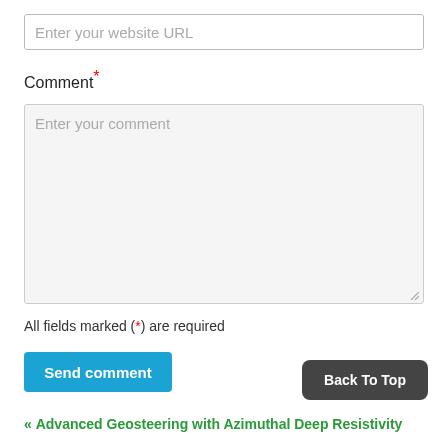Enter your website URL
Comment*
Enter your comment
All fields marked (*) are required
Send comment
Back To Top
« Advanced Geosteering with Azimuthal Deep Resistivity